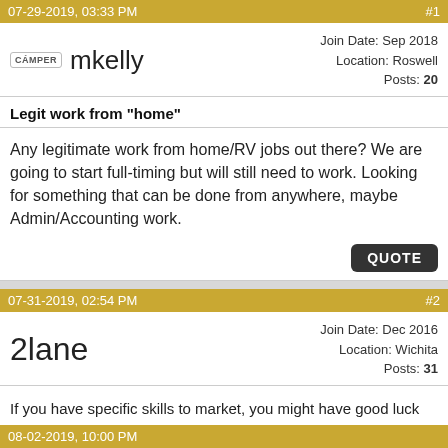07-29-2019, 03:33 PM  #1
mkelly  Join Date: Sep 2018  Location: Roswell  Posts: 20
Legit work from "home"
Any legitimate work from home/RV jobs out there? We are going to start full-timing but will still need to work. Looking for something that can be done from anywhere, maybe Admin/Accounting work.
QUOTE
07-31-2019, 02:54 PM  #2
2lane  Join Date: Dec 2016  Location: Wichita  Posts: 31
If you have specific skills to market, you might have good luck here...https://www.upwork.com/
QUOTE
08-02-2019, 10:00 PM